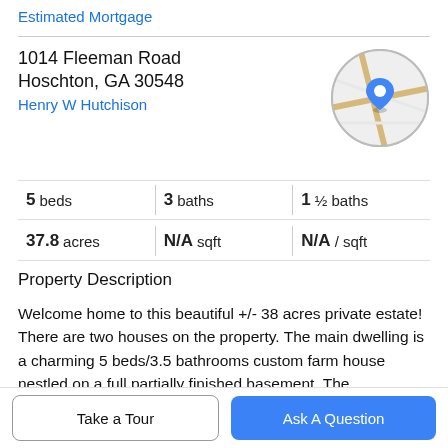Estimated Mortgage
1014 Fleeman Road
Hoschton, GA 30548
Henry W Hutchison
[Figure (map): Circular map thumbnail showing street map with blue location pin marker]
5 beds | 3 baths | 1 ½ baths
37.8 acres | N/A sqft | N/A / sqft
Property Description
Welcome home to this beautiful +/- 38 acres private estate! There are two houses on the property. The main dwelling is a charming 5 beds/3.5 bathrooms custom farm house nestled on a full partially finished basement. The
large custom rocking chair front porch overlooks
Take a Tour
Ask A Question